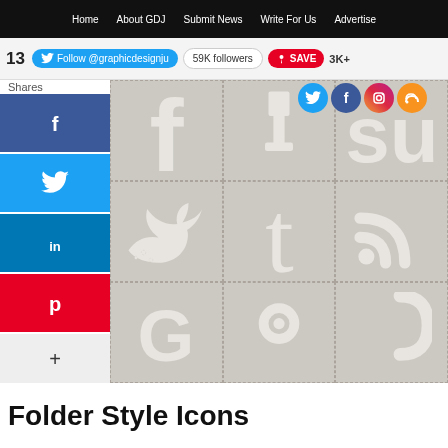Home | About GDJ | Submit News | Write For Us | Advertise
13 Shares | Follow @graphicdesignju | 59K followers | SAVE | 3K+
[Figure (screenshot): A 3x3 grid of folder-style social media icons on a beige/tan background with dashed borders. Icons include Facebook (f), a shovel/digg, Stumbleupon (su), Twitter bird, Tumblr (t), RSS feed arcs, and partial icons in the bottom row.]
Folder Style Icons